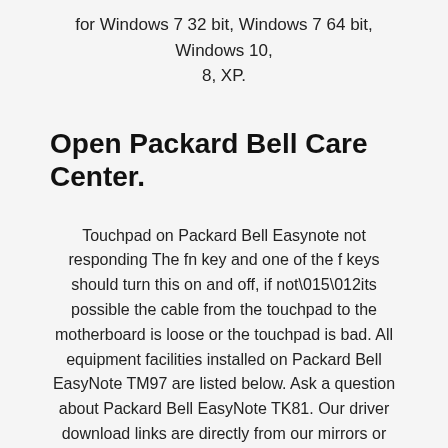for Windows 7 32 bit, Windows 7 64 bit, Windows 10, 8, XP.
Open Packard Bell Care Center.
Touchpad on Packard Bell Easynote not responding The fn key and one of the f keys should turn this on and off, if not\015\012its possible the cable from the touchpad to the motherboard is loose or the touchpad is bad. All equipment facilities installed on Packard Bell EasyNote TM97 are listed below. Ask a question about Packard Bell EasyNote TK81. Our driver download links are directly from our mirrors or publisher's website, Packard Bell EasyNote LG71BM ELANTECH Touchpad Driver 13.6.3.1 for Windows 10 64-bit torrent. This laptop is comes with Arctic Silver or Silver